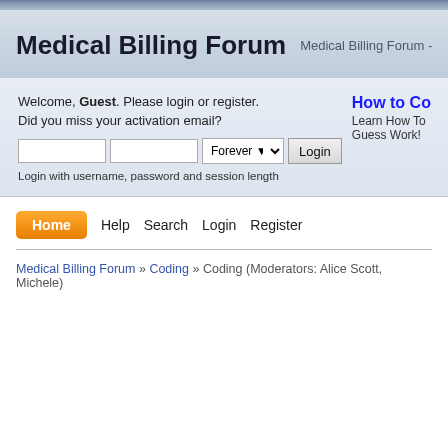Medical Billing Forum - Medical Billing Forum - Get all of y...
Medical Billing Forum
Welcome, Guest. Please login or register. Did you miss your activation email?
Login with username, password and session length
How to Co... Learn How To... Guess Work!...
Home
Help
Search
Login
Register
Medical Billing Forum » Coding » Coding (Moderators: Alice Scott, Michele)